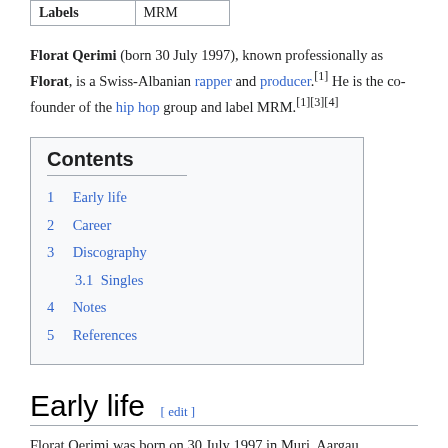| Labels | MRM |
| --- | --- |
Florat Qerimi (born 30 July 1997), known professionally as Florat, is a Swiss-Albanian rapper and producer.[1] He is the co-founder of the hip hop group and label MRM.[1][3][4]
Contents
1   Early life
2   Career
3   Discography
3.1   Singles
4   Notes
5   References
Early life [ edit ]
Florat Qerimi was born on 30 July 1997 in Muri, Aargau, Switzerland. He has a Kosovo origin.[1][2] His grandad went